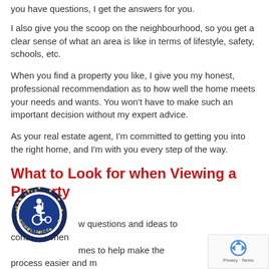you have questions, I get the answers for you.
I also give you the scoop on the neighbourhood, so you get a clear sense of what an area is like in terms of lifestyle, safety, schools, etc.
When you find a property you like, I give you my honest, professional recommendation as to how well the home meets your needs and wants. You won't have to make such an important decision without my expert advice.
As your real estate agent, I'm committed to getting you into the right home, and I'm with you every step of the way.
What to Look for when Viewing a Property
[Figure (logo): ADA Site Compliance badge with wheelchair accessibility symbol]
w questions and ideas to consider when viewing homes to help make the process easier and more productive:
[Figure (logo): Google reCAPTCHA badge with Privacy and Terms links]